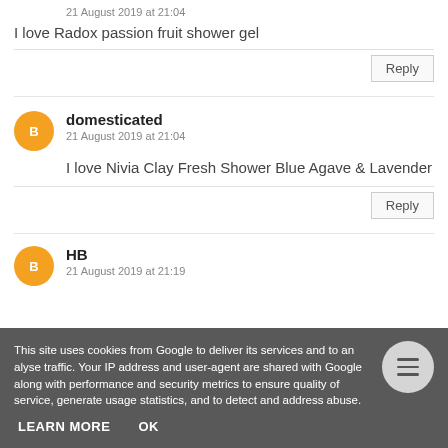21 August 2019 at 21:04
I love Radox passion fruit shower gel
Reply
domesticated
21 August 2019 at 21:04
I love Nivia Clay Fresh Shower Blue Agave & Lavender
Reply
HB
21 August 2019 at 21:19
This site uses cookies from Google to deliver its services and to analyse traffic. Your IP address and user-agent are shared with Google along with performance and security metrics to ensure quality of service, generate usage statistics, and to detect and address abuse.
LEARN MORE
OK